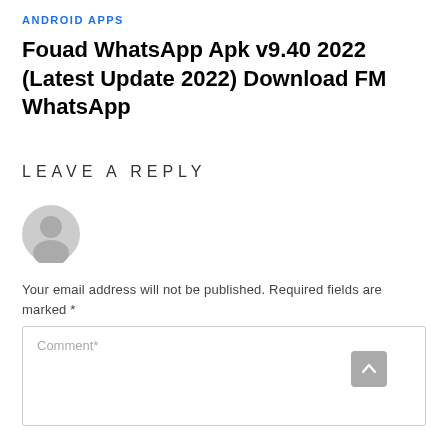ANDROID APPS
Fouad WhatsApp Apk v9.40 2022 (Latest Update 2022) Download FM WhatsApp
LEAVE A REPLY
[Figure (illustration): Grey generic user avatar icon]
Your email address will not be published. Required fields are marked *
Comment*